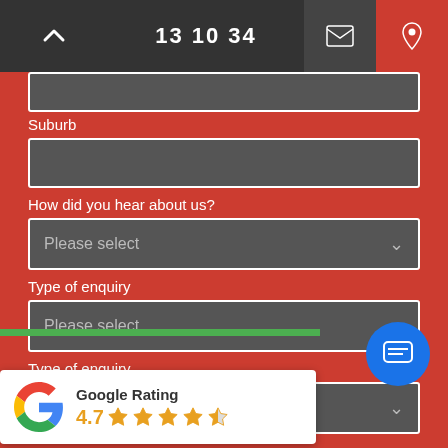13 10 34
Suburb
How did you hear about us?
Please select
Type of enquiry
Please select
Type of enquiry
Please select
Preferred time to call (Mon-Fri)?
Please select
Google Rating 4.7